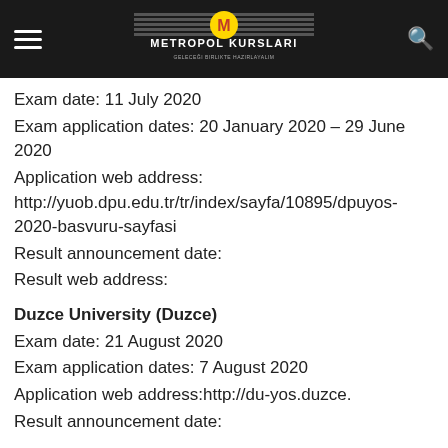METROPOL KURSLARI
Exam date: 11 July 2020
Exam application dates: 20 January 2020 – 29 June 2020
Application web address: http://yuob.dpu.edu.tr/tr/index/sayfa/10895/dpuyos-2020-basvuru-sayfasi
Result announcement date:
Result web address:
Duzce University (Duzce)
Exam date: 21 August 2020
Exam application dates: 7 August 2020
Application web address:http://du-yos.duzce...
Result announcement date: